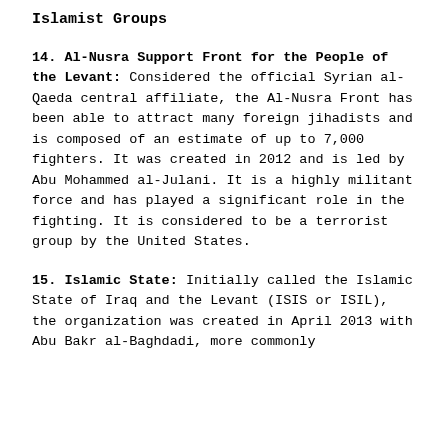Islamist Groups
14. Al-Nusra Support Front for the People of the Levant: Considered the official Syrian al-Qaeda central affiliate, the Al-Nusra Front has been able to attract many foreign jihadists and is composed of an estimate of up to 7,000 fighters. It was created in 2012 and is led by Abu Mohammed al-Julani. It is a highly militant force and has played a significant role in the fighting. It is considered to be a terrorist group by the United States.
15. Islamic State: Initially called the Islamic State of Iraq and the Levant (ISIS or ISIL), the organization was created in April 2013 with Abu Bakr al-Baghdadi, more commonly